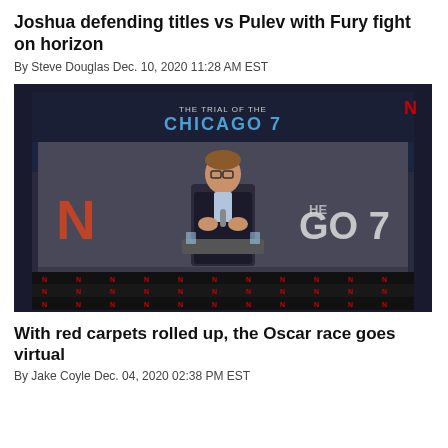Joshua defending titles vs Pulev with Fury fight on horizon
By Steve Douglas Dec. 10, 2020 11:28 AM EST
[Figure (photo): A person speaking on stage with a microphone in front of a large screen displaying 'THE TRIAL OF THE CHICAGO 7' Netflix promotional imagery, with Netflix branding visible on a repeating banner below the stage.]
With red carpets rolled up, the Oscar race goes virtual
By Jake Coyle Dec. 04, 2020 02:38 PM EST